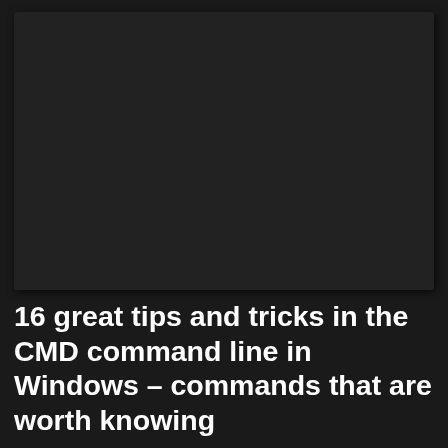[Figure (screenshot): Dark/black CMD command prompt window screenshot area, mostly black with slight dark gray rectangular region visible]
16 great tips and tricks in the CMD command line in Windows – commands that are worth knowing